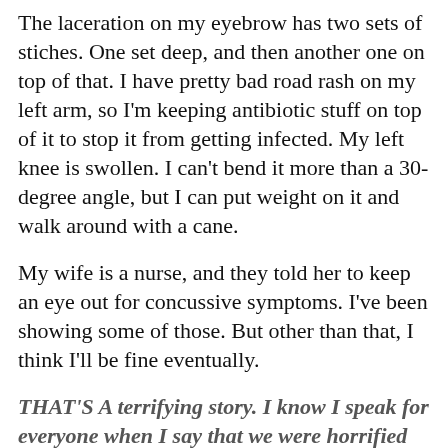The laceration on my eyebrow has two sets of stiches. One set deep, and then another one on top of that. I have pretty bad road rash on my left arm, so I'm keeping antibiotic stuff on top of it to stop it from getting infected. My left knee is swollen. I can't bend it more than a 30-degree angle, but I can put weight on it and walk around with a cane.
My wife is a nurse, and they told her to keep an eye out for concussive symptoms. I've been showing some of those. But other than that, I think I'll be fine eventually.
THAT'S A terrifying story. I know I speak for everyone when I say that we were horrified by the attack on you and relieved to know that you will recover. We're here for you, so please reach out if there's any way we can help. Michael, you were just steps away from Bill when the attack happened. Is there anything you want to add?